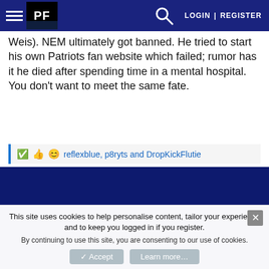PF | LOGIN | REGISTER
Weis). NEM ultimately got banned. He tried to start his own Patriots fan website which failed; rumor has it he died after spending time in a mental hospital. You don't want to meet the same fate.
reflexblue, p8ryts and DropKickFlutie
[Figure (other): Dark blue background section of a forum webpage]
This site uses cookies to help personalise content, tailor your experience and to keep you logged in if you register.
By continuing to use this site, you are consenting to our use of cookies.